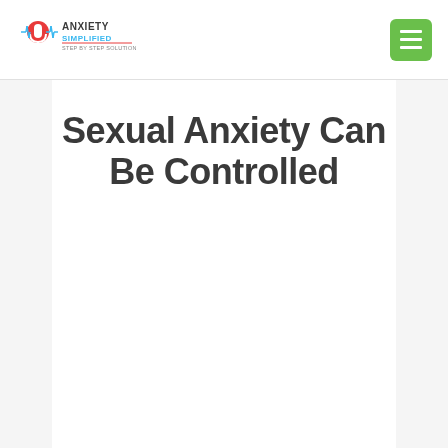Anxiety Simplified — Step by Step Solutions
Sexual Anxiety Can Be Controlled